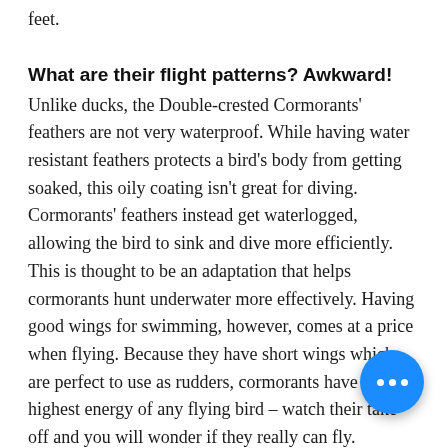feet.
What are their flight patterns? Awkward!
Unlike ducks, the Double-crested Cormorants' feathers are not very waterproof. While having water resistant feathers protects a bird's body from getting soaked, this oily coat isn't great for diving. Cormorants' feathers instead get waterlogged, allowing the bird to sink and dive more efficiently.  This is thought to be an adaptation that helps cormorants hunt underwater more effectively. Having good wings for swimming, however, comes at a price when flying. Because they have short wings which are perfect to use as rudders, cormorants have the highest energy of any flying bird – watch their take-off and you will wonder if they really can fly.